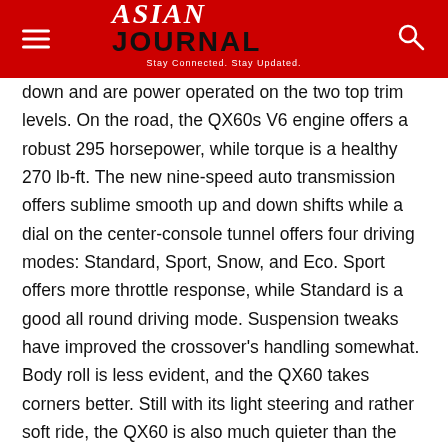ASIAN JOURNAL — Stay Connected. Stay Updated.
down and are power operated on the two top trim levels. On the road, the QX60s V6 engine offers a robust 295 horsepower, while torque is a healthy 270 lb-ft. The new nine-speed auto transmission offers sublime smooth up and down shifts while a dial on the center-console tunnel offers four driving modes: Standard, Sport, Snow, and Eco. Sport offers more throttle response, while Standard is a good all round driving mode. Suspension tweaks have improved the crossover's handling somewhat. Body roll is less evident, and the QX60 takes corners better. Still with its light steering and rather soft ride, the QX60 is also much quieter than the previous generation and is still more of a comfortable cruiser, than a sporty handling SUV. If you plan to tow a trailer or boat, the lower two trims have a 3,500-pound capacity, while the top two versions can handle a 6,000-pound towing load. Nothing much to gripe about, note the improved fuel